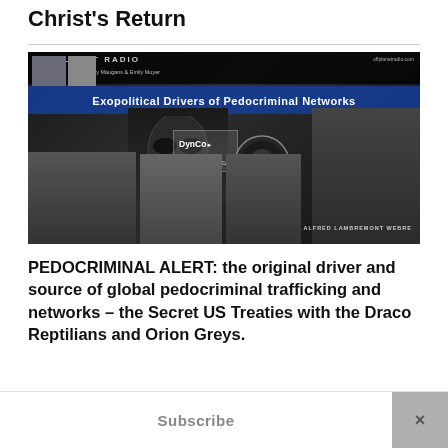Christ's Return
[Figure (screenshot): Screenshot of a video thumbnail from OffPlanet Radio featuring Randy Maugans & Emily Moyer, titled 'Exopolitical Drivers of Pedocriminal Networks', with photos of various people and the name Alfred Lambremont Webre, plus DynCo logo]
PEDOCRIMINAL ALERT: the original driver and source of global pedocriminal trafficking and networks – the Secret US Treaties with the Draco Reptilians and Orion Greys.
Subscribe  ×